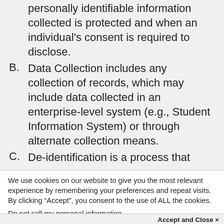personally identifiable information collected is protected and when an individual's consent is required to disclose.
B. Data Collection includes any collection of records, which may include data collected in an enterprise-level system (e.g., Student Information System) or through alternate collection means.
C. De-identification is a process that removes data for utilization and...
We use cookies on our website to give you the most relevant experience by remembering your preferences and repeat visits. By clicking “Accept”, you consent to the use of ALL the cookies.
Do not sell my personal information.
Accept and Close ×
Your browser settings do not allow cross-site tracking for advertising. Click on this page to allow AdRoll to use cross-site tracking to tailor ads to you. Learn more or opt out of this AdRoll tracking by clicking here. This message only appears once.